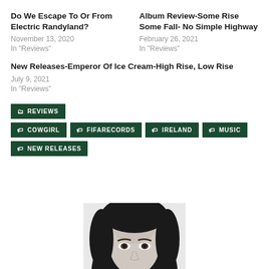Do We Escape To Or From Electric Randyland?
November 13, 2020
In "Reviews"
Album Review-Some Rise Some Fall- No Simple Highway
February 26, 2021
In "Reviews"
New Releases-Emperor Of Ice Cream-High Rise, Low Rise
July 9, 2021
In "Reviews"
REVIEWS
COWGIRL
FIFARECORDS
IRELAND
MUSIC
NEW RELEASES
[Figure (photo): Black and white portrait photo of a woman with dark hair, showing top half of face]